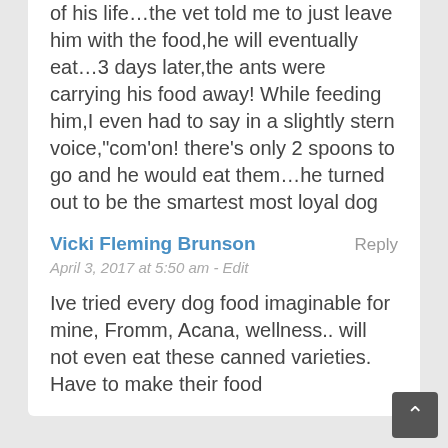of his life…the vet told me to just leave him with the food,he will eventually eat…3 days later,the ants were carrying his food away! While feeding him,I even had to say in a slightly stern voice,"com'on! there's only 2 spoons to go and he would eat them…he turned out to be the smartest most loyal dog I've ever experienced..
Vicki Fleming Brunson
April 3, 2017 at 5:50 am - Edit
Ive tried every dog food imaginable for mine, Fromm, Acana, wellness.. will not even eat these canned varieties. Have to make their food